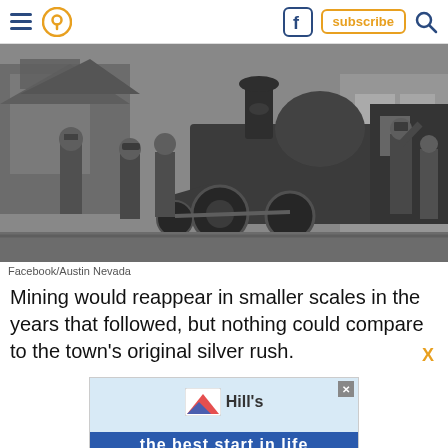Navigation bar with hamburger menu, location pin icon, Facebook icon, subscribe button, and search icon
[Figure (photo): Black and white historical photograph of men posing beside a steam locomotive. Several workers stand near the front and sides of the engine. Wooden buildings visible in background.]
Facebook/Austin Nevada
Mining would reappear in smaller scales in the years that followed, but nothing could compare to the town's original silver rush.
[Figure (other): Advertisement banner with Hill's pet food logo and partial blue background with white text at bottom]